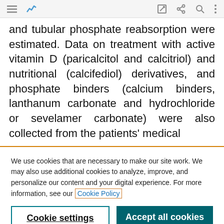[Figure (screenshot): Mobile browser toolbar with hamburger menu, bookmark/chart icon (blue), edit icon, share icon, search icon, and three-dot menu icon on a light gray background.]
and tubular phosphate reabsorption were estimated. Data on treatment with active vitamin D (paricalcitol and calcitriol) and nutritional (calcifediol) derivatives, and phosphate binders (calcium binders, lanthanum carbonate and hydrochloride or sevelamer carbonate) were also collected from the patients' medical
We use cookies that are necessary to make our site work. We may also use additional cookies to analyze, improve, and personalize our content and your digital experience. For more information, see our Cookie Policy
Cookie settings
Accept all cookies